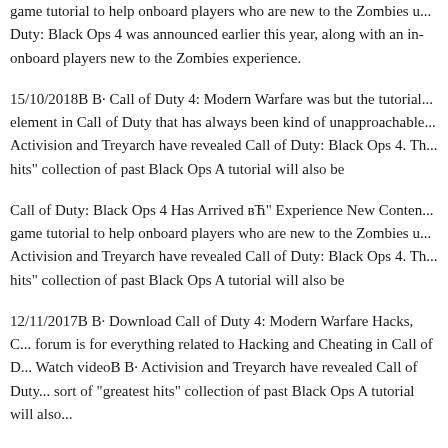game tutorial to help onboard players who are new to the Zombies u... Duty: Black Ops 4 was announced earlier this year, along with an in-... onboard players new to the Zombies experience.
15/10/2018B B· Call of Duty 4: Modern Warfare was but the tutorial... element in Call of Duty that has always been kind of unapproachable... Activision and Treyarch have revealed Call of Duty: Black Ops 4. Th... hits" collection of past Black Ops A tutorial will also be
Call of Duty: Black Ops 4 Has Arrived вЋ" Experience New Conten... game tutorial to help onboard players who are new to the Zombies u... Activision and Treyarch have revealed Call of Duty: Black Ops 4. Th... hits" collection of past Black Ops A tutorial will also be
12/11/2017B B· Download Call of Duty 4: Modern Warfare Hacks, C... forum is for everything related to Hacking and Cheating in Call of D... Watch videoB B· Activision and Treyarch have revealed Call of Duty... sort of "greatest hits" collection of past Black Ops A tutorial will also